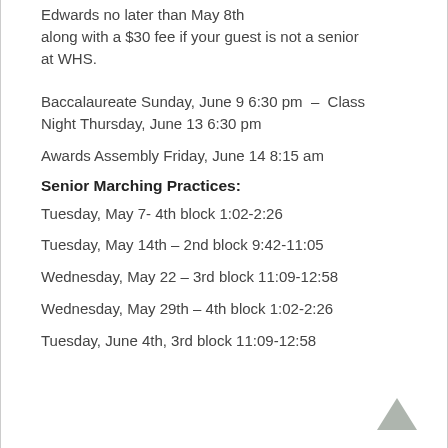Edwards no later than May 8th along with a $30 fee if your guest is not a senior at WHS.
Baccalaureate Sunday, June 9 6:30 pm  –  Class Night Thursday, June 13 6:30 pm
Awards Assembly Friday, June 14 8:15 am
Senior Marching Practices:
Tuesday, May 7- 4th block 1:02-2:26
Tuesday, May 14th – 2nd block 9:42-11:05
Wednesday, May 22 – 3rd block 11:09-12:58
Wednesday, May 29th – 4th block 1:02-2:26
Tuesday, June 4th, 3rd block 11:09-12:58